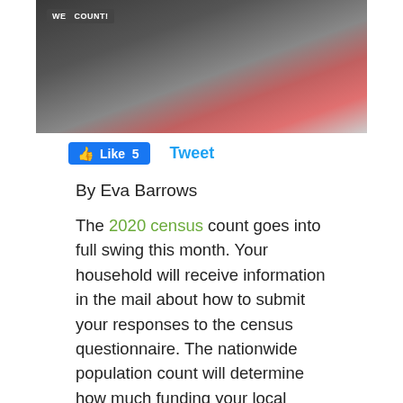[Figure (photo): Two people sitting; one wearing a dark t-shirt with 'WE COUNT' text, the other wearing a red shirt and grey jacket]
👍 Like 5   Tweet
By Eva Barrows
The 2020 census count goes into full swing this month. Your household will receive information in the mail about how to submit your responses to the census questionnaire. The nationwide population count will determine how much funding your local community will receive to administer public benefits. Programs like school lunches, highway upkeep and emergency services stand to gain or lose funding depending on how many people need these services. The census results determine the numbers, so make sure you and